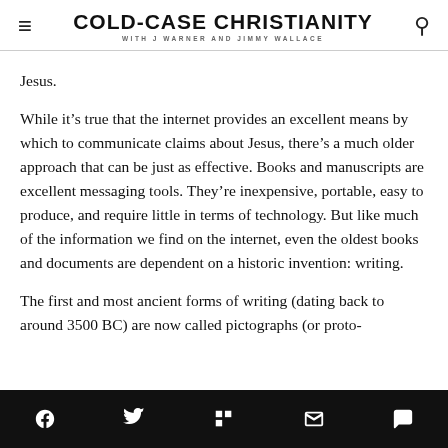COLD-CASE CHRISTIANITY with J Warner and Jimmy Wallace
Jesus.
While it’s true that the internet provides an excellent means by which to communicate claims about Jesus, there’s a much older approach that can be just as effective. Books and manuscripts are excellent messaging tools. They’re inexpensive, portable, easy to produce, and require little in terms of technology. But like much of the information we find on the internet, even the oldest books and documents are dependent on a historic invention: writing.
The first and most ancient forms of writing (dating back to around 3500 BC) are now called pictographs (or proto-cuneiform). Such drawings, or pictographic history, represent...
Social share icons: Facebook, Twitter, Flipboard, Email, Comment